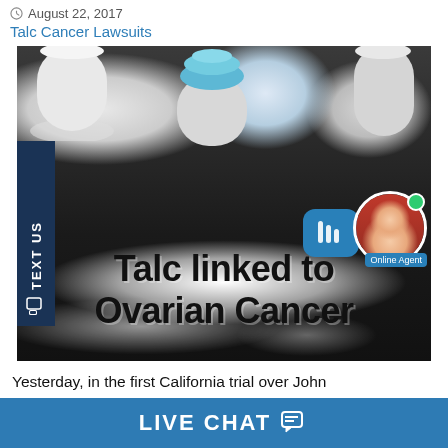August 22, 2017
Talc Cancer Lawsuits
[Figure (photo): Photo of talc powder bottles with text overlay reading 'Talc linked to Ovarian Cancer', with a 'TEXT US' sidebar tab and a live chat agent widget in the corner.]
Yesterday, in the first California trial over Johnson & Johnson's talc powder, a Los Angeles jury awar...
LIVE CHAT